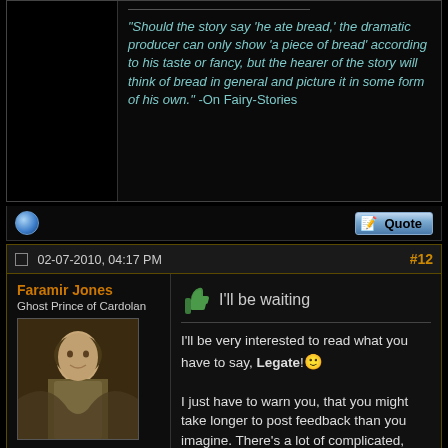"Should the story say 'he ate bread,' the dramatic producer can only show 'a piece of bread' according to his taste or fancy, but the hearer of the story will think of bread in general and picture it in some form of his own." -On Fairy-Stories
02-07-2010, 04:17 PM  #12
Faramir Jones
Ghost Prince of Cardolan
[Figure (photo): Avatar image of a fantasy-style character]
Join Date: Oct 2008
Location: Lonely Isle
Posts: 706
I'll be waiting
I'll be very interested to read what you have to say, Legate! I just have to warn you, that you might take longer to post feedback than you imagine. There's a lot of complicated, though very rewarding, material between those covers...